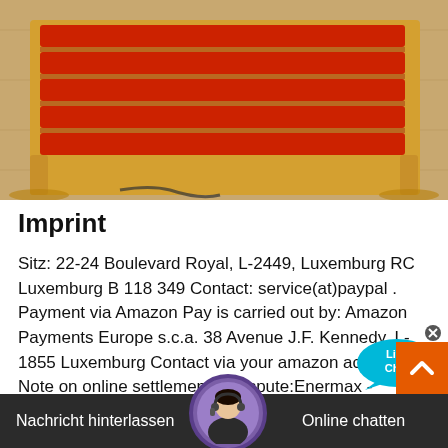[Figure (photo): Photo of a red and yellow wooden lounge chair/deck chair on a wooden floor surface, viewed from above at an angle.]
Imprint
Sitz: 22-24 Boulevard Royal, L-2449, Luxemburg RC Luxemburg B 118 349 Contact: service(at)paypal . Payment via Amazon Pay is carried out by: Amazon Payments Europe s.c.a. 38 Avenue J.F. Kennedy, L-1855 Luxemburg Contact via your amazon account Note on online settlement of dispute:Enermax - LIQTECH TR4 II - Enermax Europe2022-1-5 · The LIQTECH TR4 II is an All-in-One CPU liquid cooler with pre-filled coolant. This makes a cooler as simple as a regular cooler. Easy installation and no maintenanc. The fully sealed design ensures the lowest
[Figure (other): Live Chat bubble widget in blue/cyan color with 'Live Chat' text and an X close button]
[Figure (other): Scroll-to-top orange button with upward chevron arrow]
[Figure (photo): Customer service representative avatar photo in circular frame with purple border]
Nachricht hinterlassen
Online chatten